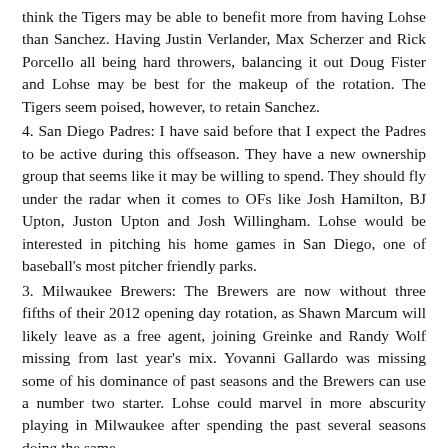think the Tigers may be able to benefit more from having Lohse than Sanchez. Having Justin Verlander, Max Scherzer and Rick Porcello all being hard throwers, balancing it out Doug Fister and Lohse may be best for the makeup of the rotation. The Tigers seem poised, however, to retain Sanchez.
4. San Diego Padres: I have said before that I expect the Padres to be active during this offseason. They have a new ownership group that seems like it may be willing to spend. They should fly under the radar when it comes to OFs like Josh Hamilton, BJ Upton, Juston Upton and Josh Willingham. Lohse would be interested in pitching his home games in San Diego, one of baseball's most pitcher friendly parks.
3. Milwaukee Brewers: The Brewers are now without three fifths of their 2012 opening day rotation, as Shawn Marcum will likely leave as a free agent, joining Greinke and Randy Wolf missing from last year's mix. Yovanni Gallardo was missing some of his dominance of past seasons and the Brewers can use a number two starter. Lohse could marvel in more abscurity playing in Milwaukee after spending the past several seasons doing the same.
2. Baltimore Orioles: The Orioles, in my opinion, would be one of the best fits for Zack Greinke. It seems however, he will end up in Los Angeles with the Angels or Dodgers. The Orioles should be in the mix for a starter like Lohse, as they will also be looking at Edwin Jackson